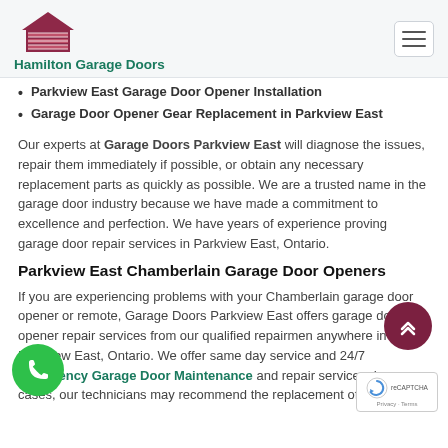Hamilton Garage Doors
Parkview East Garage Door Opener Installation
Garage Door Opener Gear Replacement in Parkview East
Our experts at Garage Doors Parkview East will diagnose the issues, repair them immediately if possible, or obtain any necessary replacement parts as quickly as possible. We are a trusted name in the garage door industry because we have made a commitment to excellence and perfection. We have years of experience proving garage door repair services in Parkview East, Ontario.
Parkview East Chamberlain Garage Door Openers
If you are experiencing problems with your Chamberlain garage door opener or remote, Garage Doors Parkview East offers garage door opener repair services from our qualified repairmen anywhere in Parkview East, Ontario. We offer same day service and 24/7 Emergency Garage Door Maintenance and repair services. In some cases, our technicians may recommend the replacement of your